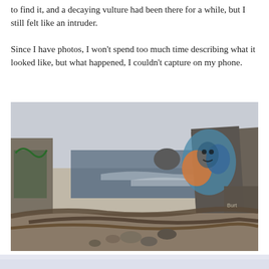to find it, and a decaying vulture had been there for a while, but I still felt like an intruder.
Since I have photos, I won't spend too much time describing what it looked like, but what happened, I couldn't capture on my phone.
[Figure (photo): Ruins of concrete structures covered in colorful graffiti on a rocky coastal shoreline, with ocean waves and large rocks in the background. Driftwood piled in the foreground.]
[Figure (photo): Bottom portion of another photo showing a pale lavender-gray sky near the horizon.]